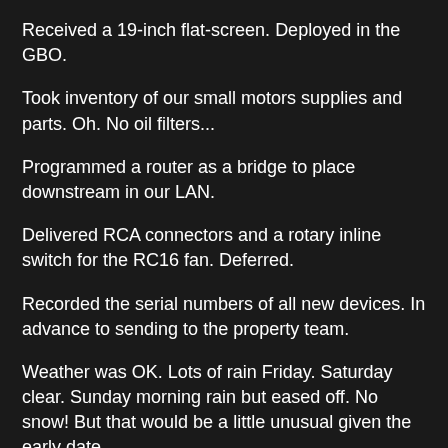Received a 19-inch flat-screen. Deployed in the GBO.
Took inventory of our small motors supplies and parts. Oh. No oil filters...
Programmed a router as a bridge to place downstream in our LAN.
Delivered RCA connectors and a rotary inline switch for the RC16 fan. Deferred.
Recorded the serial numbers of all new devices. In advance to sending to the property team.
Weather was OK. Lots of rain Friday. Saturday clear. Sunday morning rain but eased off. No snow! But that would be a little unusual given the early date.
Food was great. Our first-time cook and sous-chef did an awesome job.